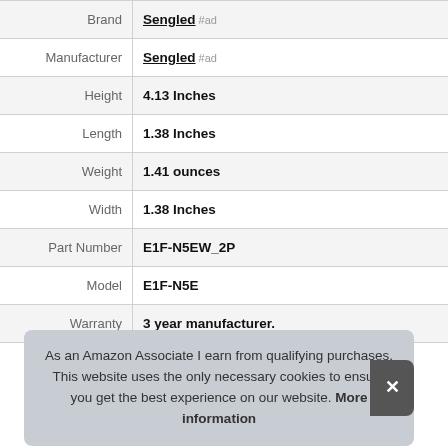| Attribute | Value |
| --- | --- |
| Brand | Sengled #ad |
| Manufacturer | Sengled #ad |
| Height | 4.13 Inches |
| Length | 1.38 Inches |
| Weight | 1.41 ounces |
| Width | 1.38 Inches |
| Part Number | E1F-N5EW_2P |
| Model | E1F-N5E |
| Warranty | 3 year manufacturer. |
As an Amazon Associate I earn from qualifying purchases. This website uses the only necessary cookies to ensure you get the best experience on our website. More information